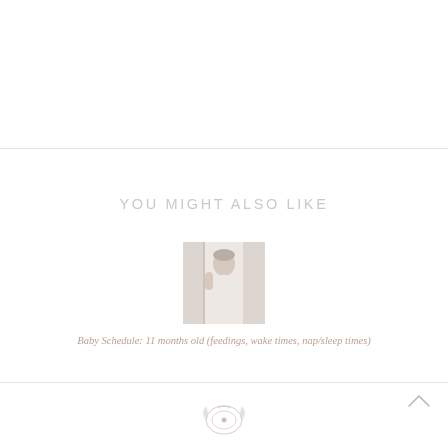YOU MIGHT ALSO LIKE
[Figure (photo): Small thumbnail photo of a baby or toddler standing near curtains or a window, soft light tones]
Baby Schedule: 11 months old (feedings, wake times, nap/sleep times)
[Figure (logo): Small decorative logo or emblem at the bottom of the page]